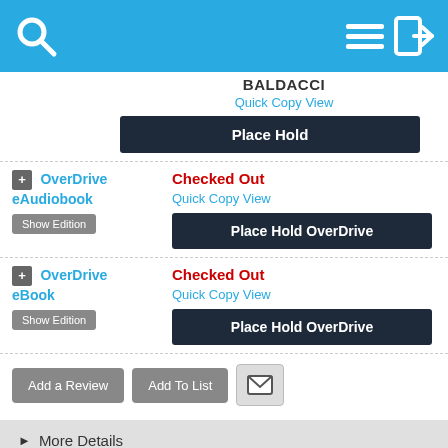[Figure (screenshot): App header bar with search icon (magnifying glass), hamburger menu icon, and login arrow icon on blue background]
BALDACCI
Quick Copy View
Place Hold
+ OverDrive eAudiobook
Show Edition
Checked Out
Quick Copy View
Place Hold OverDrive
+ OverDrive eBook
Show Edition
Checked Out
Quick Copy View
Place Hold OverDrive
Add a Review
Add To List
► More Details
► Also in This Series
► Published Reviews